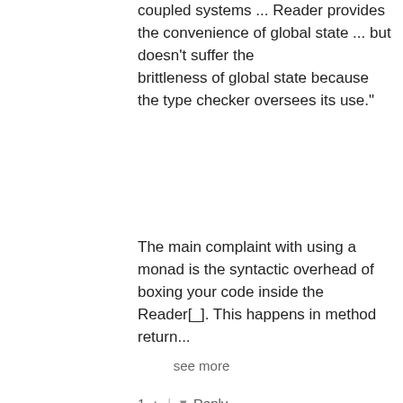coupled systems ... Reader provides the convenience of global state ... but doesn't suffer the brittleness of global state because the type checker oversees its use."
The main complaint with using a monad is the syntactic overhead of boxing your code inside the Reader[_]. This happens in method return...
see more
1 ∧ | ∨ Reply
Adam Warski → tksfz
8 years ago
Yes I'm well aware of the Reader monad approach - thanks for bringing it up. The good side of the approach is that it certainly places a clean border on the "service" and "data" parameters, using the terminology from the blog. Why I'm not convinced about is: (1) how does it behave in larger systems in terms of readability, proportion of